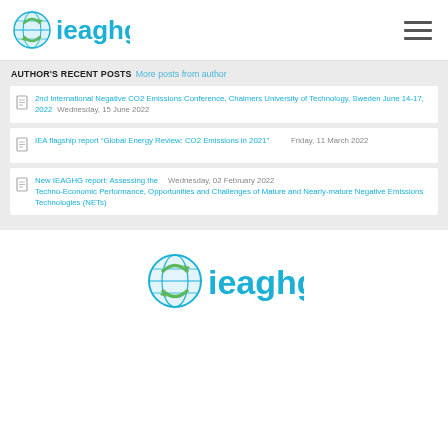ieaghg logo and navigation
AUTHOR'S RECENT POSTS More posts from author
2nd International Negative CO2 Emissions Conference, Chalmers University of Technology, Sweden June 14-17, 2022  Wednesday, 15 June 2022
IEA flagship report "Global Energy Review: CO2 Emissions in 2021"  Friday, 11 March 2022
New IEAGHG report: Assessing the Techno-Economic Performance, Opportunities and Challenges of Mature and Nearly-mature Negative Emissions Technologies (NETs)  Wednesday, 02 February 2022
[Figure (logo): IEAGHG logo at bottom center of page]